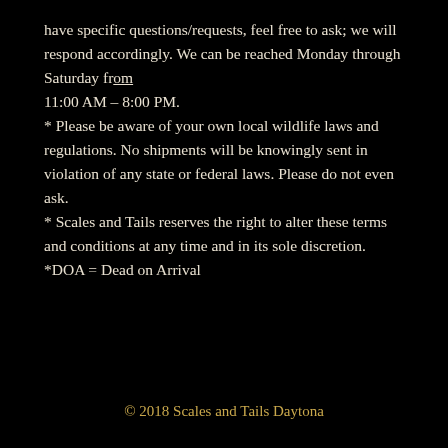have specific questions/requests, feel free to ask; we will respond accordingly. We can be reached Monday through Saturday from 11:00 AM – 8:00 PM.
* Please be aware of your own local wildlife laws and regulations. No shipments will be knowingly sent in violation of any state or federal laws. Please do not even ask.
* Scales and Tails reserves the right to alter these terms and conditions at any time and in its sole discretion.
*DOA = Dead on Arrival
© 2018 Scales and Tails Daytona